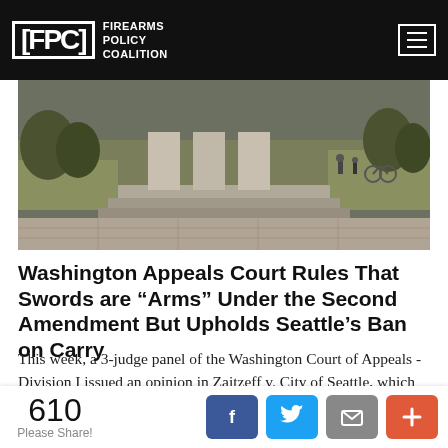FPC FIREARMS POLICY COALITION
[Figure (photo): Outdoor park scene with a stone monument or pillars structure, green grass, trees, and people in the background. Stone plaza with steps in foreground.]
Washington Appeals Court Rules That Swords are “Arms” Under the Second Amendment But Upholds Seattle’s Ban on Carry
This week, a 3-judge panel of the Washington Court of Appeals - Division I issued an opinion in Zaitzeff v. City of Seattle, which held that even though the sword Zaitzeff carried in a Seattle park is protected by both the Second Amendment and the Washington State Constitution as an arm, the city’s ban on carrying it is
610 Please Share!